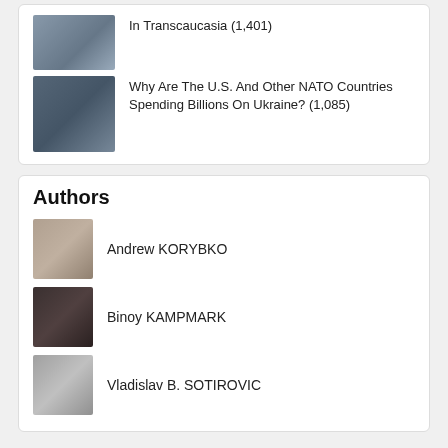In Transcaucasia (1,401)
Why Are The U.S. And Other NATO Countries Spending Billions On Ukraine? (1,085)
Authors
Andrew KORYBKO
Binoy KAMPMARK
Vladislav B. SOTIROVIC